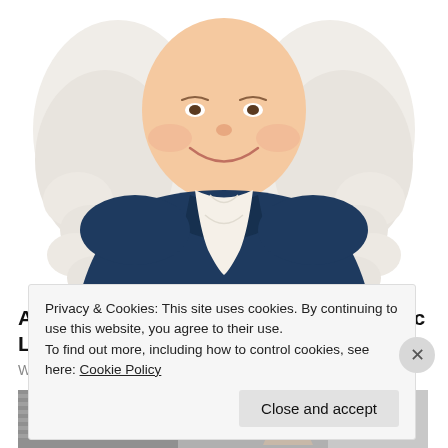[Figure (illustration): Illustrated caricature of a smiling man in colonial attire — white curly wig, dark navy coat, white ruffled cravat. Only the upper body and head are visible, cropped at the chest.]
Almost Nobody Has Passed This Classic Logo Quiz
WarpedSpeed
[Figure (photo): Black and white photograph of a woman with curly hair, wearing a floral dress, holding her hand up to her forehead in a shielding gesture, with venetian blinds in the background.]
Privacy & Cookies: This site uses cookies. By continuing to use this website, you agree to their use.
To find out more, including how to control cookies, see here: Cookie Policy
Close and accept